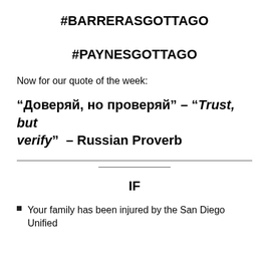#BARRERASGOTTAGO
#PAYNESGOTTAGO
Now for our quote of the week:
“Доверяй, но проверяй” – “Trust, but verify” – Russian Proverb
IF
Your family has been injured by the San Diego Unified